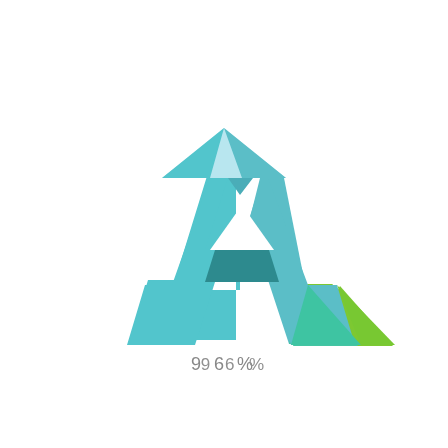[Figure (logo): Geometric letter A logo made of teal/cyan triangular facets with a small teal trapezoid at the base center, a teal-to-green gradient triangle and a green triangle at bottom right. Text '9 6 %' appears below the logo in gray.]